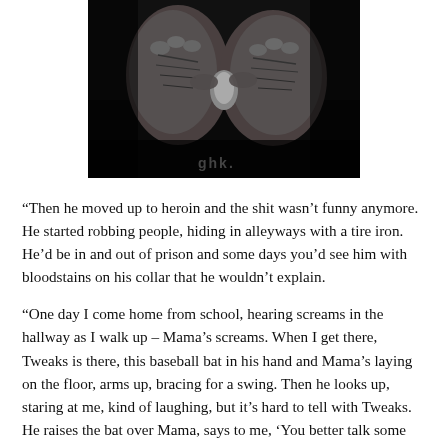[Figure (photo): Black and white close-up photograph of two aged, wrinkled hands, one gripping or manipulating something small, with a dark background. The image has a gritty, high-contrast monochrome look.]
“Then he moved up to heroin and the shit wasn’t funny anymore. He started robbing people, hiding in alleyways with a tire iron. He’d be in and out of prison and some days you’d see him with bloodstains on his collar that he wouldn’t explain.
“One day I come home from school, hearing screams in the hallway as I walk up – Mama’s screams. When I get there, Tweaks is there, this baseball bat in his hand and Mama’s laying on the floor, arms up, bracing for a swing. Then he looks up, staring at me, kind of laughing, but it’s hard to tell with Tweaks. He raises the bat over Mama, says to me, ‘You better talk some sense to your mother…